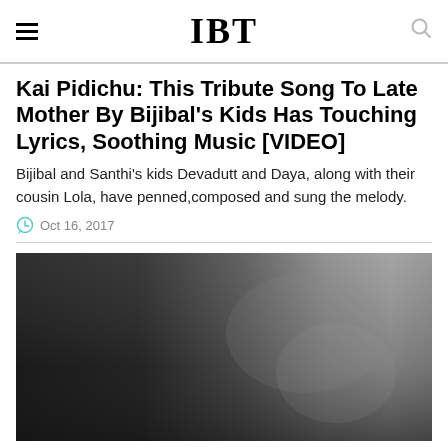IBT
Kai Pidichu: This Tribute Song To Late Mother By Bijibal's Kids Has Touching Lyrics, Soothing Music [VIDEO]
Bijibal and Santhi's kids Devadutt and Daya, along with their cousin Lola, have penned,composed and sung the melody.
Oct 16, 2017
[Figure (photo): A dark blurred image, likely a video thumbnail with a dark left side and grey gradient towards the right]